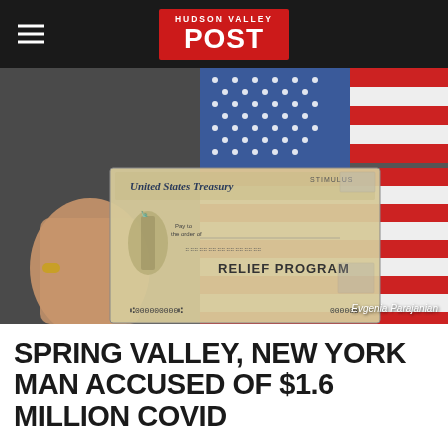HUDSON VALLEY POST
[Figure (photo): Hand holding a United States Treasury stimulus check against an American flag background. The check reads 'RELIEF PROGRAM' and shows Statue of Liberty engraving. Photo credit: Evgenia Parajanian]
Evgenia Parajanian
SPRING VALLEY, NEW YORK MAN ACCUSED OF $1.6 MILLION COVID